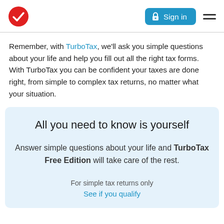TurboTax logo | Sign in | Menu
Remember, with TurboTax, we'll ask you simple questions about your life and help you fill out all the right tax forms. With TurboTax you can be confident your taxes are done right, from simple to complex tax returns, no matter what your situation.
All you need to know is yourself
Answer simple questions about your life and TurboTax Free Edition will take care of the rest.
For simple tax returns only
See if you qualify